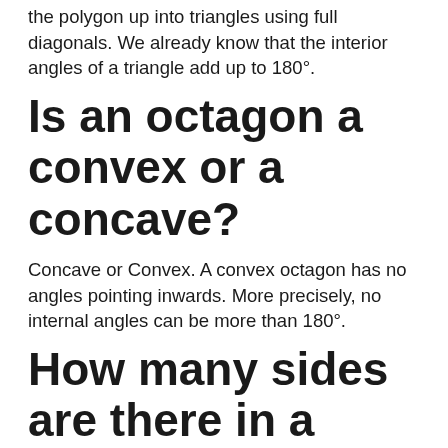the polygon up into triangles using full diagonals. We already know that the interior angles of a triangle add up to 180°.
Is an octagon a convex or a concave?
Concave or Convex. A convex octagon has no angles pointing inwards. More precisely, no internal angles can be more than 180°.
How many sides are there in a convex polygon?
The sum of the exterior angles of any convex polygon is 360 degrees. That means that if